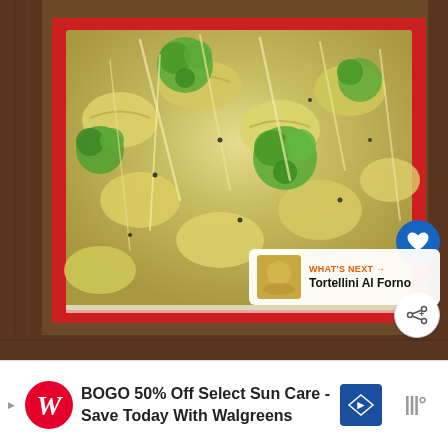[Figure (photo): Overhead close-up photo of cheesy tortellini pasta bake with broccoli florets in a red-rimmed white baking dish, topped with shredded parmesan cheese and black pepper, on a dark wood table. UI overlays include a blue heart button showing 3.6K, a share button, and a 'What's Next: Tortellini Al Forno' panel in the lower right.]
3.6K
WHAT'S NEXT → Tortellini Al Forno
BOGO 50% Off Select Sun Care - Save Today With Walgreens